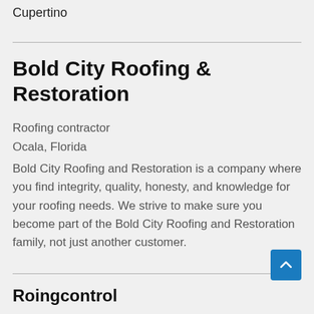Cupertino
Bold City Roofing & Restoration
Roofing contractor
Ocala, Florida
Bold City Roofing and Restoration is a company where you find integrity, quality, honesty, and knowledge for your roofing needs. We strive to make sure you become part of the Bold City Roofing and Restoration family, not just another customer.
Roingcontrol